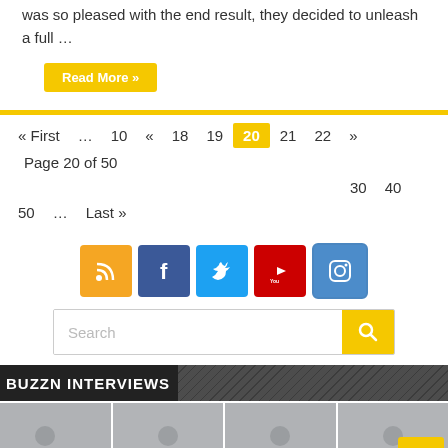was so pleased with the end result, they decided to unleash a full …
Read More »
« First … 10 « 18 19 20 21 22 » Page 20 of 50 30 40 50 … Last »
[Figure (infographic): Social media icons: RSS (orange), Facebook (blue), Twitter (light blue), YouTube (red with play button), Instagram (blue outline)]
[Figure (infographic): Search bar with placeholder text 'Search' and yellow search button with magnifying glass icon]
BUZZN INTERVIEWS
[Figure (photo): Four thumbnail images in a row showing interview subjects, greyed out photo thumbnails]
[Figure (other): Back to top button, yellow square with up arrow]